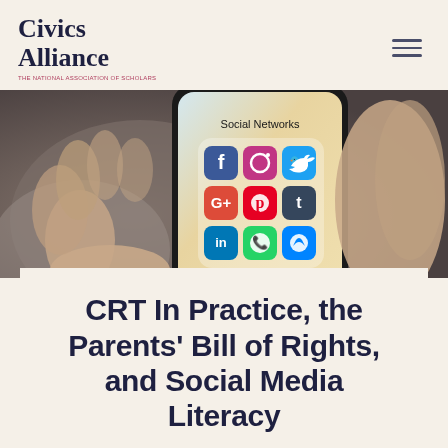Civics Alliance — THE NATIONAL ASSOCIATION OF SCHOLARS
[Figure (photo): A hand holding a smartphone displaying a social networks app folder with icons for Facebook, Instagram, Twitter, Google+, Pinterest, Tumblr, LinkedIn, WhatsApp, and Messenger]
CRT In Practice, the Parents' Bill of Rights, and Social Media Literacy